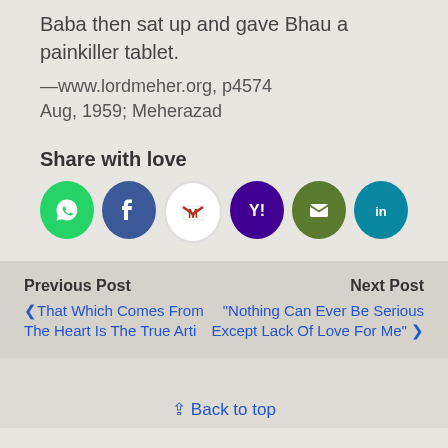Baba then sat up and gave Bhau a painkiller tablet.
—www.lordmeher.org, p4574
Aug, 1959; Meherazad
Share with love
[Figure (infographic): Six social sharing icon circles: WhatsApp (green), Facebook (blue), Gmail (red/white M), Yahoo (purple), Email (olive/green), LinkedIn (teal)]
Previous Post
‹ That Which Comes From The Heart Is The True Arti
Next Post
"Nothing Can Ever Be Serious Except Lack Of Love For Me" ›
⇪ Back to top